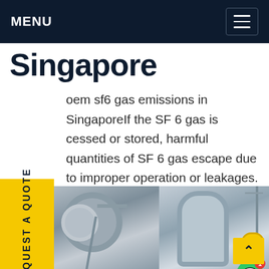MENU
Singapore
oem sf6 gas emissions in SingaporeIf the SF 6 gas is cessed or stored, harmful quantities of SF 6 gas escape due to improper operation or leakages. model GA35 makes it possible to control areas up to 250 m2. SF 6 gas is five times heavier than therefore breathing air can be displaced in case higher concentrations of SF 6 gas so that there is sk of suffocation.Get price
[Figure (photo): Industrial gas equipment photo strip — two side-by-side photos showing large industrial gas cylinders/vessels and equipment in an outdoor setting with cranes and industrial infrastructure visible]